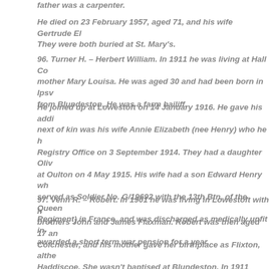father was a carpenter.
He died on 23 February 1957, aged 71, and his wife Gertrude El They were both buried at St. Mary's.
96. Turner H. – Herbert William. In 1911 he was living at Hall Co mother Mary Louisa. He was aged 30 and had been born in Ipsw from Blundeston. He was a farm bailiff.
He joined up at Lowestoft on 14 January 1916. He gave his add next of kin was his wife Annie Elizabeth (nee Henry) who he h Registry Office on 3 September 1914. They had a daughter Oliv at Oulton on 4 May 1915. His wife had a son Edward Henry wh served as Soldier No. G/19692 with the 13th Btn. of the Queen Regiment) in France, and was discharged as medically unfit in awarded a short term war pension for a year.
97. Venn R. – Robert. In 1901 he was living in Lowestoft with h brothers John and James Flaxman. Robert was then aged 17 an Colchester, and his mother gave her birthplace as Flixton, althe Haddiscoe. She wasn't baptised at Blundeston. In 1911 Rene, a w Blundeston Street with her brothers, but Robert wasn't there e